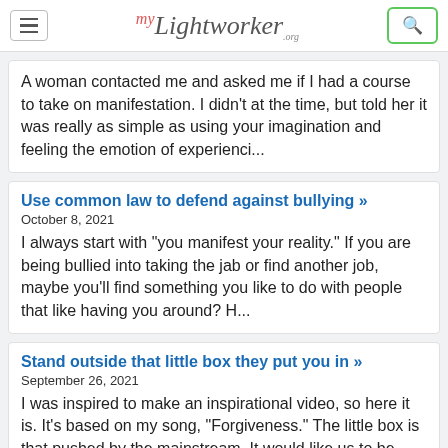myLightworker.org
A woman contacted me and asked me if I had a course to take on manifestation. I didn't at the time, but told her it was really as simple as using your imagination and feeling the emotion of experienci...
Use common law to defend against bullying »
October 8, 2021
I always start with "you manifest your reality." If you are being bullied into taking the jab or find another job, maybe you'll find something you like to do with people that like having you around? H...
Stand outside that little box they put you in »
September 26, 2021
I was inspired to make an inspirational video, so here it is. It's based on my song, "Forgiveness." The little box is that pushed by the mainstream. It would like us to be separate, in fear and askin...